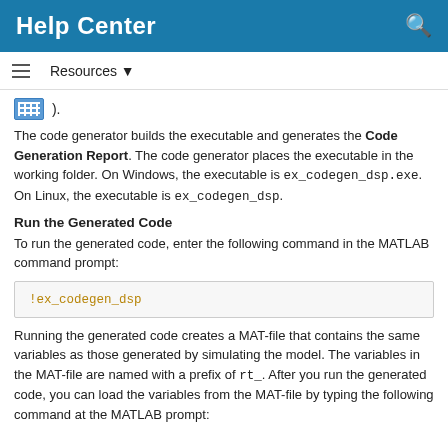Help Center
).
The code generator builds the executable and generates the Code Generation Report. The code generator places the executable in the working folder. On Windows, the executable is ex_codegen_dsp.exe. On Linux, the executable is ex_codegen_dsp.
Run the Generated Code
To run the generated code, enter the following command in the MATLAB command prompt:
!ex_codegen_dsp
Running the generated code creates a MAT-file that contains the same variables as those generated by simulating the model. The variables in the MAT-file are named with a prefix of rt_. After you run the generated code, you can load the variables from the MAT-file by typing the following command at the MATLAB prompt: